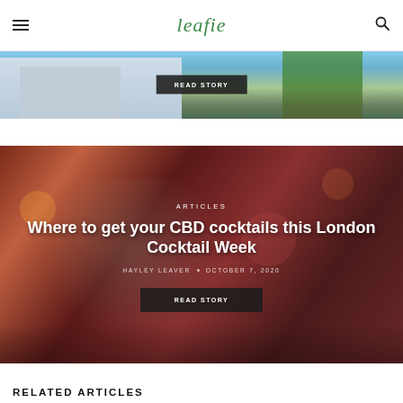leafie
[Figure (photo): Partial view of a city street with white building facades and palm trees against a blue sky, with a 'READ STORY' button overlay]
[Figure (photo): Close-up of a cocktail drink with mint garnish on a bar counter, with blurred red/warm bokeh background. Overlaid text: ARTICLES, article title, author, date, and READ STORY button]
ARTICLES
Where to get your CBD cocktails this London Cocktail Week
HAYLEY LEAVER · OCTOBER 7, 2020
RELATED ARTICLES